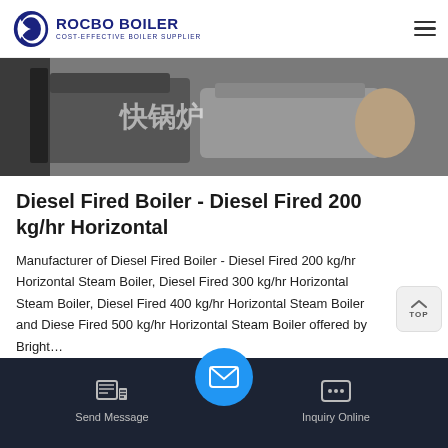[Figure (logo): ROCBO BOILER logo with blue crescent icon and text 'COST-EFFECTIVE BOILER SUPPLIER']
[Figure (photo): Industrial boiler equipment photo with Chinese text overlay '快锅炉']
Diesel Fired Boiler - Diesel Fired 200 kg/hr Horizontal
Manufacturer of Diesel Fired Boiler - Diesel Fired 200 kg/hr Horizontal Steam Boiler, Diesel Fired 300 kg/hr Horizontal Steam Boiler, Diesel Fired 400 kg/hr Horizontal Steam Boiler and Diesel Fired 500 kg/hr Horizontal Steam Boiler offered by Bright…
[Figure (other): Get Price button (green)]
[Figure (other): Bottom navigation bar with Send Message, email center button, and Inquiry Online icons]